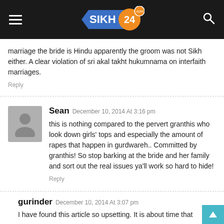[Figure (logo): Sikh24.com website header with hamburger menu, Sikh24.com logo, and search icon on dark background]
marriage the bride is Hindu apparently the groom was not Sikh either. A clear violation of sri akal takht hukumnama on interfaith marriages.
Reply
Sean December 10, 2014 At 3:16 pm
this is nothing compared to the pervert granthis who look down girls' tops and especially the amount of rapes that happen in gurdwareh.. Committed by granthis! So stop barking at the bride and her family and sort out the real issues ya'll work so hard to hide!
Reply
gurinder December 10, 2014 At 3:07 pm
I have found this article so upsetting. It is about time that